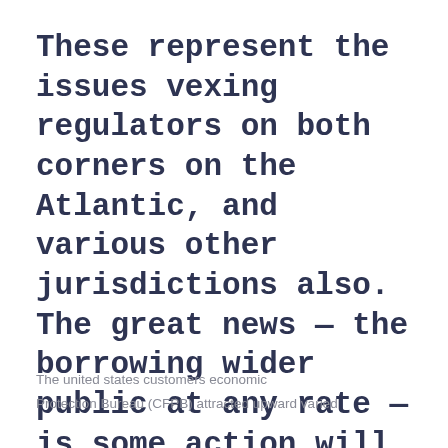These represent the issues vexing regulators on both corners on the Atlantic, and various other jurisdictions also. The great news – the borrowing wider public at any rate – is some action will be taken.
The united states customers economic
Protection Bureau (CFPB) attracted upward varied